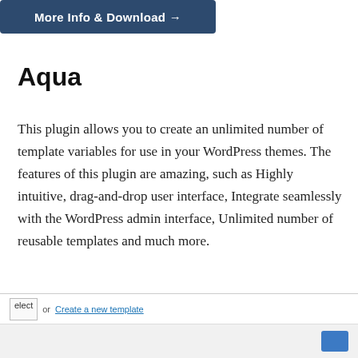[Figure (screenshot): Dark blue button labeled 'More Info & Download →']
Aqua
This plugin allows you to create an unlimited number of template variables for use in your WordPress themes. The features of this plugin are amazing, such as Highly intuitive, drag-and-drop user interface, Integrate seamlessly with the WordPress admin interface, Unlimited number of reusable templates and much more.
[Figure (screenshot): Bottom UI section with a select input, 'or Create a new template' link, and a blue button, on a light gray background row.]